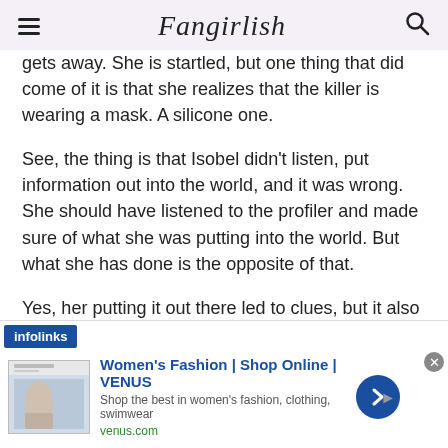Fangirlish
gets away. She is startled, but one thing that did come of it is that she realizes that the killer is wearing a mask. A silicone one.
See, the thing is that Isobel didn't listen, put information out into the world, and it was wrong. She should have listened to the profiler and made sure of what she was putting into the world. But what she has done is the opposite of that.
Yes, her putting it out there led to clues, but it also led to that little girl – the one who survived and witnessed
[Figure (screenshot): Advertisement banner for Women's Fashion | Shop Online | VENUS with infolinks branding, showing a fashion model image, ad text, and navigation arrow button]